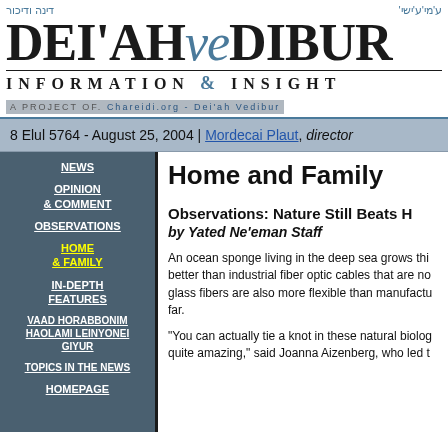DEI'AH veDIBUR — INFORMATION & INSIGHT — A PROJECT OF Chareidi.org - Dei'ah Vedibur
8 Elul 5764 - August 25, 2004 | Mordecai Plaut, director
NEWS
OPINION & COMMENT
OBSERVATIONS
HOME & FAMILY
IN-DEPTH FEATURES
VAAD HORABBONIM HAOLAMI LEINYONEI GIYUR
TOPICS IN THE NEWS
HOMEPAGE
Home and Family
Observations: Nature Still Beats H...
by Yated Ne'eman Staff
An ocean sponge living in the deep sea grows thi... better than industrial fiber optic cables that are no... glass fibers are also more flexible than manufactu... far.
"You can actually tie a knot in these natural biolog... quite amazing," said Joanna Aizenberg, who led t...